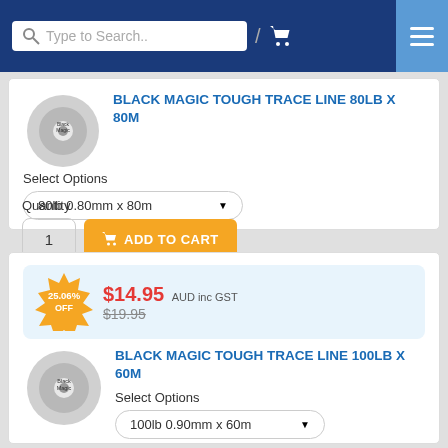Type to Search..
[Figure (photo): Fishing line spool - Black Magic Tough Trace Line 80lb x 80m]
BLACK MAGIC TOUGH TRACE LINE 80LB X 80M
Select Options
80lb 0.80mm x 80m
Quantity
1  ADD TO CART
[Figure (photo): Fishing line spool - Black Magic Tough Trace Line 100lb x 60m]
25.06% OFF  $14.95 AUD inc GST  $19.95
BLACK MAGIC TOUGH TRACE LINE 100LB X 60M
Select Options
100lb 0.90mm x 60m
Quantity